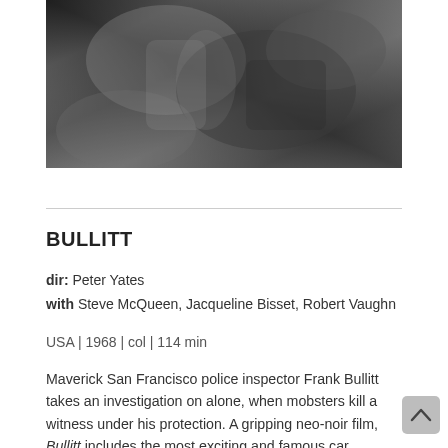[Figure (photo): Black and white photograph of a person, cropped partial view showing upper body and hands]
BULLITT
dir: Peter Yates
with Steve McQueen, Jacqueline Bisset, Robert Vaughn
USA | 1968 | col | 114 min
Maverick San Francisco police inspector Frank Bullitt takes an investigation on alone, when mobsters kill a witness under his protection. A gripping neo-noir film, Bullitt includes the most exciting and famous car chase on the sloping streets of San Francisco and, of cours some of the most iconic and emulated outfits worn by Steve McQueen, not by chance known as the "King of